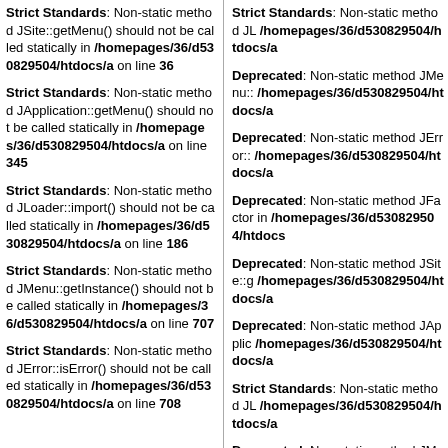Strict Standards: Non-static method JSite::getMenu() should not be called statically in /homepages/36/d530829504/htdocs/a on line 36
Strict Standards: Non-static method JApplication::getMenu() should not be called statically in /homepages/36/d530829504/htdocs/a on line 345
Strict Standards: Non-static method JLoader::import() should not be called statically in /homepages/36/d530829504/htdocs/a on line 186
Strict Standards: Non-static method JMenu::getInstance() should not be called statically in /homepages/36/d530829504/htdocs/a on line 707
Strict Standards: Non-static method JError::isError() should not be called statically in /homepages/36/d530829504/htdocs/a on line 708
Strict Standards: Non-static method JL /homepages/36/d530829504/htdocs/a
Deprecated: Non-static method JMenu:: /homepages/36/d530829504/htdocs/a
Deprecated: Non-static method JError:: /homepages/36/d530829504/htdocs/a
Deprecated: Non-static method JFactor in /homepages/36/d530829504/htdocs
Deprecated: Non-static method JSite::g /homepages/36/d530829504/htdocs/a
Deprecated: Non-static method JApplic /homepages/36/d530829504/htdocs/a
Strict Standards: Non-static method JL /homepages/36/d530829504/htdocs/a
Deprecated: Non-static method JMenu:: /homepages/36/d530829504/htdocs/a
Deprecated: Non-static method JError:: /homepages/36/d530829504/htdocs/a
Deprecated: Non-static method JFactor